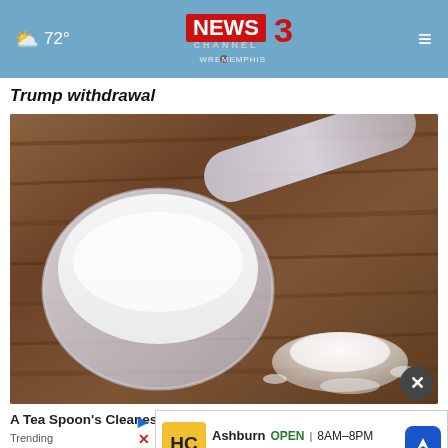72° NEWS CHANNEL 3 WREG MEMPHIS
Trump withdrawal
[Figure (photo): A measuring scoop filled with white powder (protein powder or similar supplement) resting on a wooden surface with some powder spilled beside it]
A Tea [obscured] Spoon's Cleanest Burn: Might Like C[obscured]
Trending
[Figure (screenshot): Advertisement banner: Ashburn OPEN 8AM-8PM, 44110 Ashburn Shopping Plaza ..., with HC logo and navigation arrow icon]